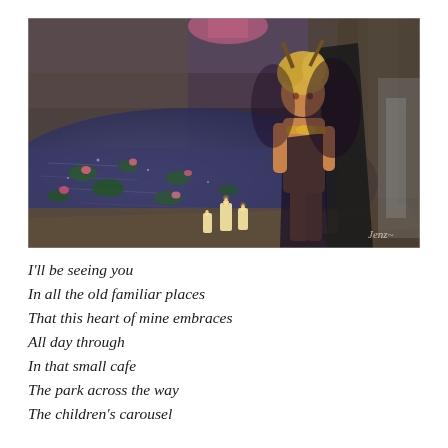[Figure (screenshot): A virtual world / video game screenshot showing a fantasy scene with a female character wearing dark attire and golden accessories, standing by a dark pond with floating lily pads and pink lotus flowers, with candles nearby and rocky surroundings. A waterfall is visible in the background. A photographer's signature 'Jenz' appears in the lower right corner.]
I'll be seeing you
In all the old familiar places
That this heart of mine embraces
All day through
In that small cafe
The park across the way
The children's carousel